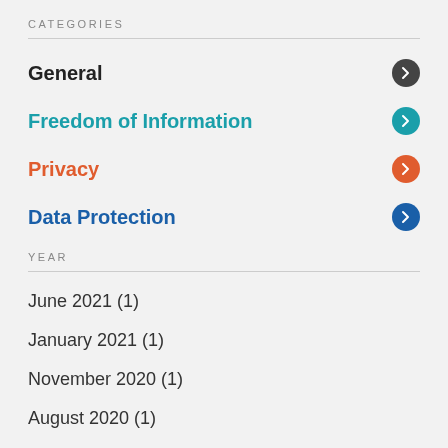CATEGORIES
General
Freedom of Information
Privacy
Data Protection
YEAR
June 2021 (1)
January 2021 (1)
November 2020 (1)
August 2020 (1)